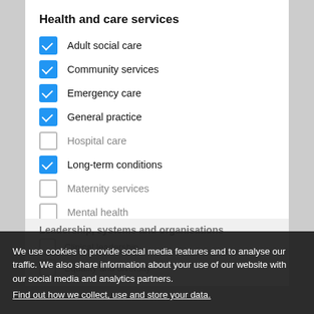Health and care services
Adult social care
Community services
Emergency care
General practice
Hospital care
Long-term conditions
Maternity services
Mental health
New models of care
Public health
Leadership, systems and organisations
Clinical leadership
Equality and diversity
We use cookies to provide social media features and to analyse our traffic. We also share information about your use of our website with our social media and analytics partners. Find out how we collect, use and store your data.